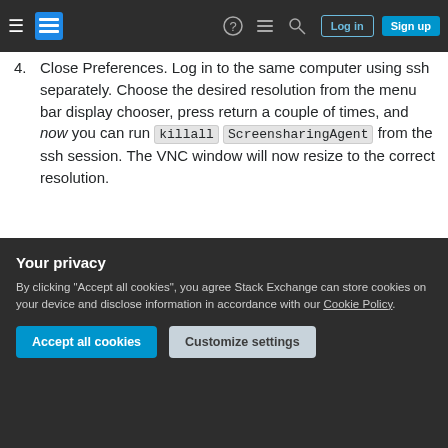Stack Exchange navigation bar with Log in and Sign up buttons
4. Close Preferences. Log in to the same computer using ssh separately. Choose the desired resolution from the menu bar display chooser, press return a couple of times, and now you can run killall ScreensharingAgent from the ssh session. The VNC window will now resize to the correct resolution.
This convoluted method has worked for me.
Your privacy
By clicking "Accept all cookies", you agree Stack Exchange can store cookies on your device and disclose information in accordance with our Cookie Policy.